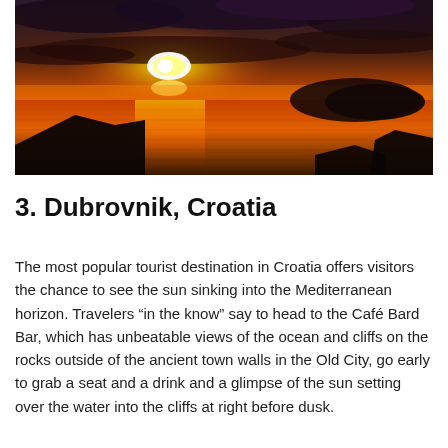[Figure (photo): A dramatic sunset photo over the Mediterranean sea near Dubrovnik, Croatia. The sky is filled with dark clouds lit in orange and red hues by the setting sun. The sun is partially visible behind clouds, casting golden reflections on the calm water below. Dark silhouetted rocky cliffs and a distant island are visible on the right side.]
3. Dubrovnik, Croatia
The most popular tourist destination in Croatia offers visitors the chance to see the sun sinking into the Mediterranean horizon. Travelers “in the know” say to head to the Café Bard Bar, which has unbeatable views of the ocean and cliffs on the rocks outside of the ancient town walls in the Old City, go early to grab a seat and a drink and a glimpse of the sun setting over the water into the cliffs at right before dusk.